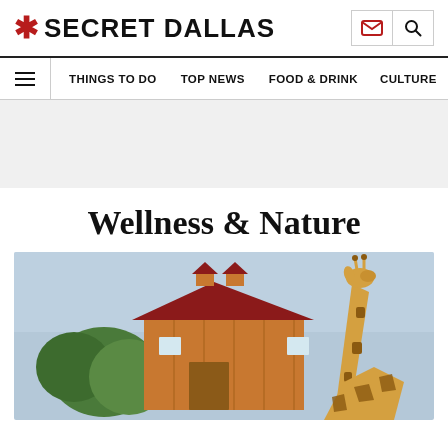* SECRET DALLAS
THINGS TO DO  TOP NEWS  FOOD & DRINK  CULTURE
[Figure (other): Advertisement / placeholder banner area with light gray background]
Wellness & Nature
[Figure (photo): A tall giraffe standing in front of a large wooden barn building with red roof and cupolas, surrounded by green trees under a blue sky]